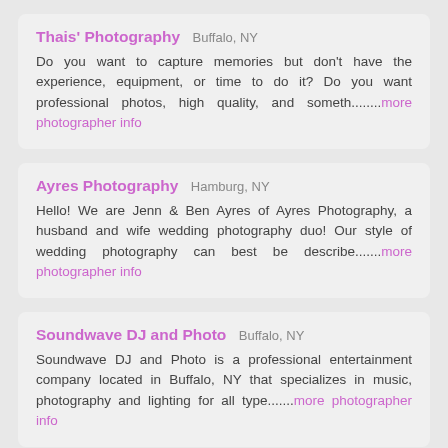Thais' Photography  Buffalo, NY
Do you want to capture memories but don't have the experience, equipment, or time to do it? Do you want professional photos, high quality, and someth........more photographer info
Ayres Photography  Hamburg, NY
Hello! We are Jenn & Ben Ayres of Ayres Photography, a husband and wife wedding photography duo! Our style of wedding photography can best be describe.......more photographer info
Soundwave DJ and Photo  Buffalo, NY
Soundwave DJ and Photo is a professional entertainment company located in Buffalo, NY that specializes in music, photography and lighting for all type.......more photographer info
LakeView Photography & Video  Hamburg, NY
Your Wedding Photojournalists. Serving Buffalo, Rochester, Erie and all surrounding areas of Western New York. We also offer Videography